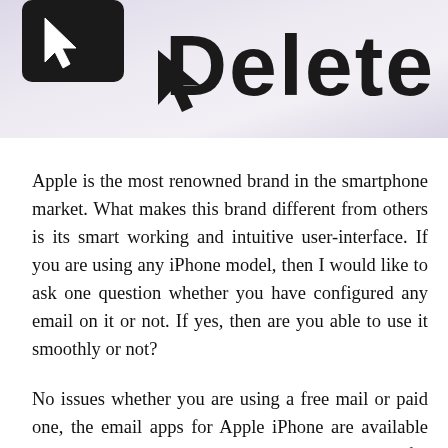[Figure (screenshot): Screenshot showing a Delete button with a cursor arrow pointing at it, on a light purple/grey gradient background.]
Apple is the most renowned brand in the smartphone market. What makes this brand different from others is its smart working and intuitive user-interface. If you are using any iPhone model, then I would like to ask one question whether you have configured any email on it or not. If yes, then are you able to use it smoothly or not?
No issues whether you are using a free mail or paid one, the email apps for Apple iPhone are available easily on the app store. You can download it for every service provider whether it is Bellsouth, Roadrunner or SBC or any free